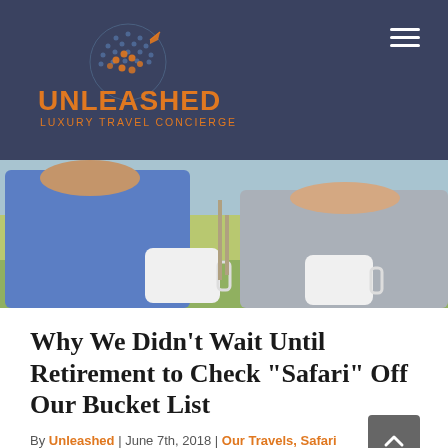UNLEASHED LUXURY TRAVEL CONCIERGE
[Figure (photo): Two people outdoors holding white mugs, with a grassy savanna landscape in the background]
Why We Didn’t Wait Until Retirement to Check “Safari” Off Our Bucket List
By Unleashed | June 7th, 2018 | Our Travels, Safari